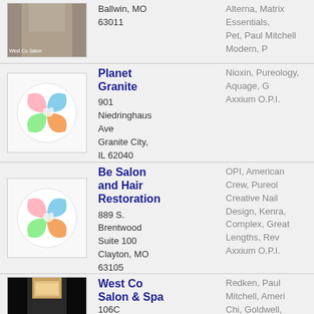| Image | Name & Address | Brands |
| --- | --- | --- |
| [West Co Salon photo] | Ballwin, MO 63011 | Alterna, Matrix Essentials, Pet, Paul Mitchell Modern, P... |
| [Planet Granite logo] | Planet Granite
901 Niedringhaus Ave
Granite City, IL 62040 | Nioxin, Pureology, Aquage, G... Axxium O.P.I. |
| [Be Salon logo] | Be Salon and Hair Restoration
889 S. Brentwood Suite 100
Clayton, MO 63105 | OPI, American Crew, Pureol... Creative Nail Design, Kenra, Complex, Great Lengths, Rev... Axxium O.P.I. |
| [West Co Salon & Spa photo] | West Co Salon & Spa
106C Holloway Rd | Redken, Paul Mitchell, Ameri... Chi, Goldwell, Redken for Me... Dermalogica, Aveda, Schwarz... |